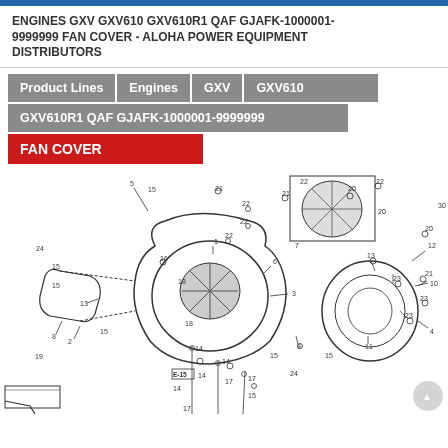ENGINES GXV GXV610 GXV610R1 QAF GJAFK-1000001-9999999 FAN COVER - ALOHA POWER EQUIPMENT DISTRIBUTORS
Product Lines | Engines | GXV | GXV610
GXV610R1 QAF GJAFK-1000001-9999999
FAN COVER
[Figure (engineering-diagram): Exploded engineering diagram showing numbered parts for a Honda GXV610 engine fan cover assembly, with part reference numbers (1-24, etc.) callout lines pointing to various components including fan cover, shroud, bolts, nuts, and related parts. Includes detail insets showing top views of fan and related ring components.]